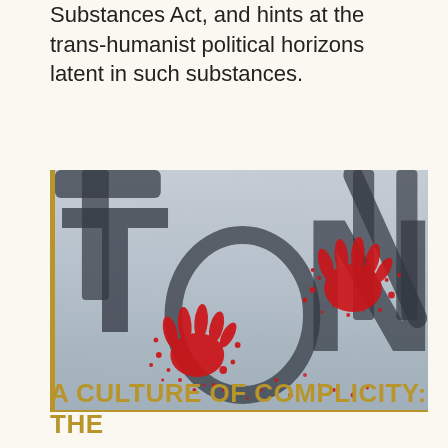Substances Act, and hints at the trans-humanist political horizons latent in such substances.
[Figure (photo): Photograph of a white fabric or banner with large dark letters 'TON' painted on it, overlaid with two red bloody handprints and red splatter marks.]
A CULTURE OF COMPLICITY: THE